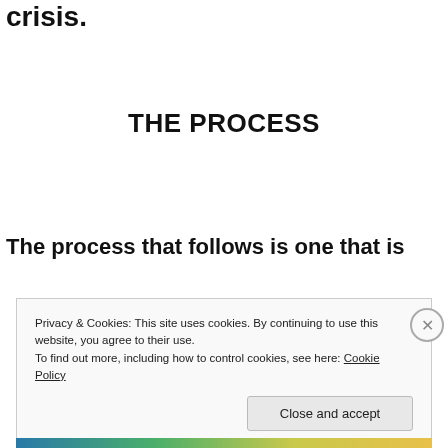crisis.
THE PROCESS
The process that follows is one that is
Privacy & Cookies: This site uses cookies. By continuing to use this website, you agree to their use.
To find out more, including how to control cookies, see here: Cookie Policy
Close and accept